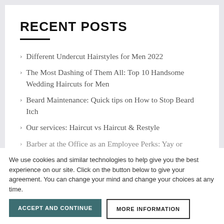RECENT POSTS
Different Undercut Hairstyles for Men 2022
The Most Dashing of Them All: Top 10 Handsome Wedding Haircuts for Men
Beard Maintenance: Quick tips on How to Stop Beard Itch
Our services: Haircut vs Haircut & Restyle
Barber at the Office as an Employee Perks: Yay or
We use cookies and similar technologies to help give you the best experience on our site. Click on the button below to give your agreement. You can change your mind and change your choices at any time.
ACCEPT AND CONTINUE
MORE INFORMATION